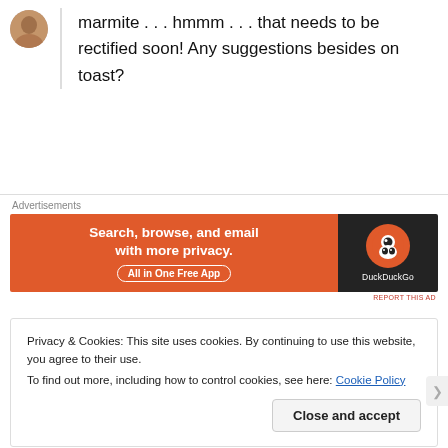marmite . . . hmmm . . . that needs to be rectified soon! Any suggestions besides on toast?
[Figure (other): DuckDuckGo advertisement banner: orange left panel with text 'Search, browse, and email with more privacy. All in One Free App' and dark right panel with DuckDuckGo logo]
Privacy & Cookies: This site uses cookies. By continuing to use this website, you agree to their use.
To find out more, including how to control cookies, see here: Cookie Policy
Close and accept